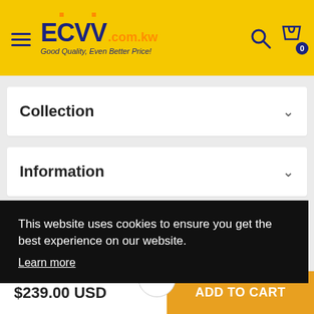[Figure (logo): ECVV.com.kw logo with hamburger menu, search icon, and cart icon on yellow header background]
Collection
Information
Help Center
This website uses cookies to ensure you get the best experience on our website. Learn more
$239.00 USD
ADD TO CART